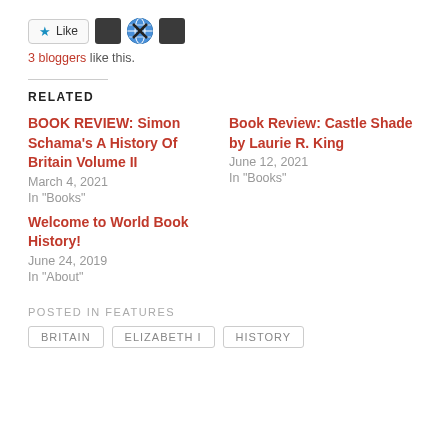Like | 3 bloggers like this.
RELATED
BOOK REVIEW: Simon Schama's A History Of Britain Volume II
March 4, 2021
In "Books"
Book Review: Castle Shade by Laurie R. King
June 12, 2021
In "Books"
Welcome to World Book History!
June 24, 2019
In "About"
POSTED IN FEATURES
BRITAIN   ELIZABETH I   HISTORY